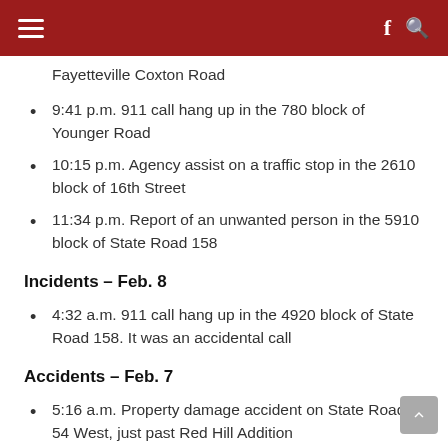Navigation menu, Facebook, Search
Fayetteville Coxton Road
9:41 p.m. 911 call hang up in the 780 block of Younger Road
10:15 p.m. Agency assist on a traffic stop in the 2610 block of 16th Street
11:34 p.m. Report of an unwanted person in the 5910 block of State Road 158
Incidents – Feb. 8
4:32 a.m. 911 call hang up in the 4920 block of State Road 158. It was an accidental call
Accidents – Feb. 7
5:16 a.m. Property damage accident on State Road 54 West, just past Red Hill Addition
10 p.m. An Oolitic resident reported a property...